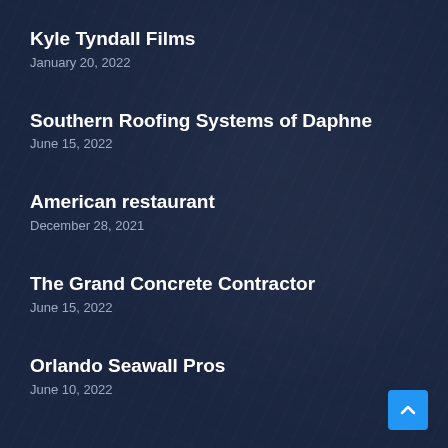Kyle Tyndall Films
January 20, 2022
Southern Roofing Systems of Daphne
June 15, 2022
American restaurant
December 28, 2021
The Grand Concrete Contractor
June 15, 2022
Orlando Seawall Pros
June 10, 2022